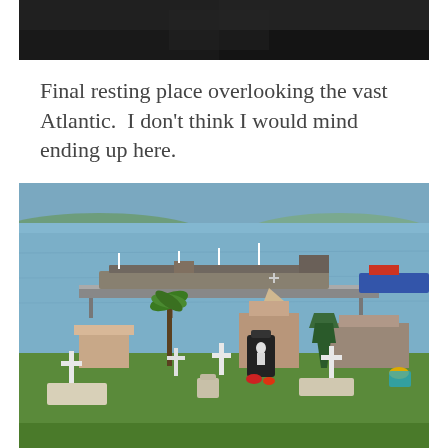[Figure (photo): Top portion of a dark image, mostly dark tones, appears to be top of a previous photo cropped at the top of the page.]
Final resting place overlooking the vast Atlantic.  I don't think I would mind ending up here.
[Figure (photo): A cemetery overlooking the Atlantic Ocean with white crosses and grave markers in the foreground, palm trees, church buildings with orange/red rooftops, a harbor with a large ship docked at a pier, blue water, and distant green hills in the background.]